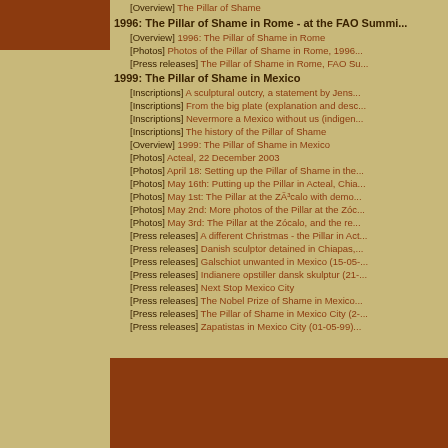[Figure (photo): Small brown/rust colored image of a figure at top left]
[Overview] The Pillar of Shame
1996: The Pillar of Shame in Rome - at the FAO Summit
[Overview] 1996: The Pillar of Shame in Rome
[Photos] Photos of the Pillar of Shame in Rome, 1996
[Press releases] The Pillar of Shame in Rome, FAO Su...
1999: The Pillar of Shame in Mexico
[Inscriptions] A sculptural outcry, a statement by Jens...
[Inscriptions] From the big plate (explanation and desc...
[Inscriptions] Nevermore a Mexico without us (indigen...
[Inscriptions] The history of the Pillar of Shame
[Overview] 1999: The Pillar of Shame in Mexico
[Photos] Acteal, 22 December 2003
[Photos] April 18: Setting up the Pillar of Shame in the...
[Photos] May 16th: Putting up the Pillar in Acteal, Chia...
[Photos] May 1st: The Pillar at the ZÃ³calo with demo...
[Photos] May 2nd: More photos of the Pillar at the Zóc...
[Photos] May 3rd: The Pillar at the Zócalo, and the re...
[Press releases] A different Christmas - the Pillar in Act...
[Press releases] Danish sculptor detained in Chiapas,...
[Press releases] Galschiot unwanted in Mexico (15-05-...
[Press releases] Indianere opstiller dansk skulptur (21-...
[Press releases] Next Stop Mexico City
[Press releases] The Nobel Prize of Shame in Mexico...
[Press releases] The Pillar of Shame in Mexico City (2-...
[Press releases] Zapatistas in Mexico City (01-05-99)...